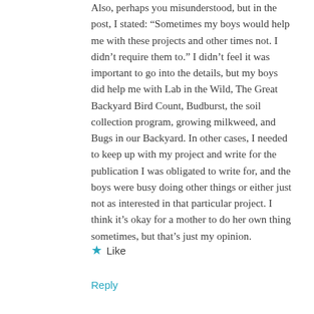Also, perhaps you misunderstood, but in the post, I stated: “Sometimes my boys would help me with these projects and other times not. I didn’t require them to.” I didn’t feel it was important to go into the details, but my boys did help me with Lab in the Wild, The Great Backyard Bird Count, Budburst, the soil collection program, growing milkweed, and Bugs in our Backyard. In other cases, I needed to keep up with my project and write for the publication I was obligated to write for, and the boys were busy doing other things or either just not as interested in that particular project. I think it’s okay for a mother to do her own thing sometimes, but that’s just my opinion.
★ Like
Reply